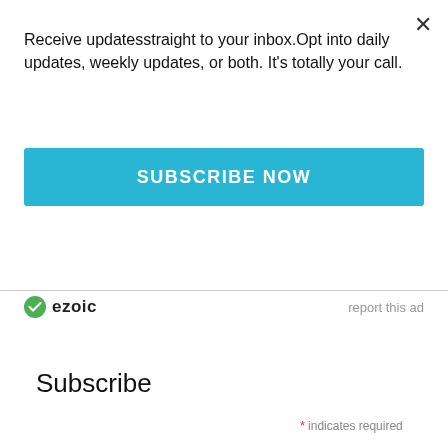×
Receive updatesstraight to your inbox.Opt into daily updates, weekly updates, or both. It's totally your call.
SUBSCRIBE NOW
[Figure (logo): Ezoic logo with green circular icon and text 'ezoic']
report this ad
Subscribe
* indicates required